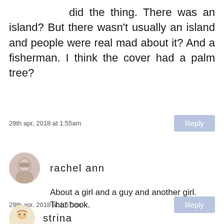did the thing. There was an island? But there wasn't usually an island and people were real mad about it? And a fisherman. I think the cover had a palm tree?
29th apr, 2018 at 1:55am
Reply
rachel ann
About a girl and a guy and another girl. That book.
29th apr, 2018 at 1:57am
Reply
strina